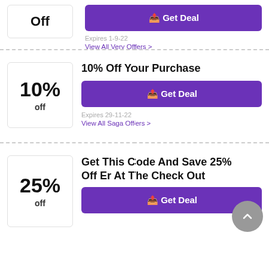[Figure (other): Partial coupon badge (off label cut off at top) with Get Deal button]
Expires 1-9-22
View All Very Offers >
10% Off Your Purchase
[Figure (other): Coupon badge showing 10% off]
Get Deal
Expires 29-11-22
View All Saga Offers >
Get This Code And Save 25% Off Er At The Check Out
[Figure (other): Coupon badge showing 25% off]
Get Deal